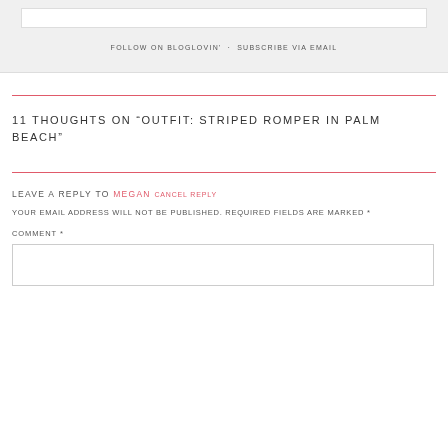FOLLOW ON BLOGLOVIN' · SUBSCRIBE VIA EMAIL
11 THOUGHTS ON "OUTFIT: STRIPED ROMPER IN PALM BEACH"
LEAVE A REPLY TO MEGAN CANCEL REPLY
YOUR EMAIL ADDRESS WILL NOT BE PUBLISHED. REQUIRED FIELDS ARE MARKED *
COMMENT *